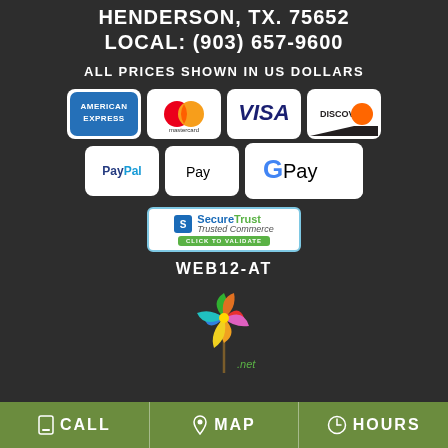HENDERSON, TX. 75652
LOCAL: (903) 657-9600
ALL PRICES SHOWN IN US DOLLARS
[Figure (logo): Payment method logos: American Express, Mastercard, Visa, Discover, PayPal, Apple Pay, Google Pay]
[Figure (logo): SecureTrust Trusted Commerce - Click to Validate badge]
WEB12-AT
[Figure (logo): Colorful pinwheel/windmill logo]
CALL   MAP   HOURS